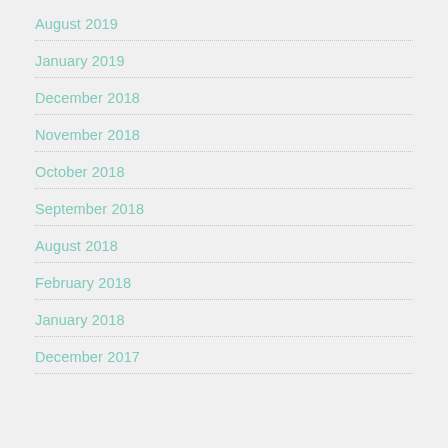August 2019
January 2019
December 2018
November 2018
October 2018
September 2018
August 2018
February 2018
January 2018
December 2017